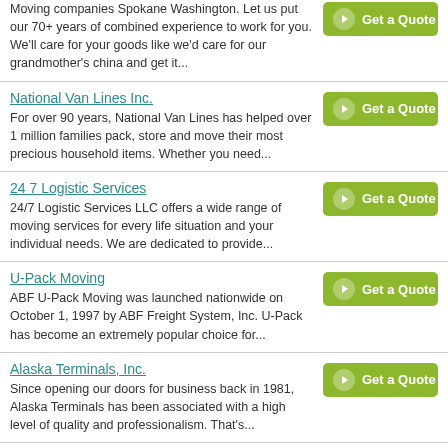Moving companies Spokane Washington. Let us put our 70+ years of combined experience to work for you. We'll care for your goods like we'd care for our grandmother's china and get it...
National Van Lines Inc. - For over 90 years, National Van Lines has helped over 1 million families pack, store and move their most precious household items. Whether you need...
24 7 Logistic Services - 24/7 Logistic Services LLC offers a wide range of moving services for every life situation and your individual needs. We are dedicated to provide...
U-Pack Moving - ABF U-Pack Moving was launched nationwide on October 1, 1997 by ABF Freight System, Inc. U-Pack has become an extremely popular choice for...
Alaska Terminals, Inc. - Since opening our doors for business back in 1981, Alaska Terminals has been associated with a high level of quality and professionalism. That's...
On Time Moving & Storage